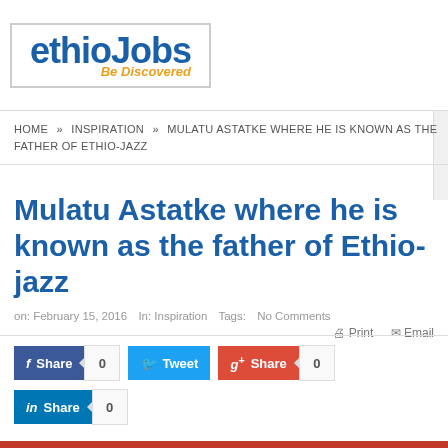[Figure (logo): ethioJobs logo with 'Be Discovered' tagline in orange]
HOME » INSPIRATION » MULATU ASTATKE WHERE HE IS KNOWN AS THE FATHER OF ETHIO-JAZZ
Mulatu Astatke where he is known as the father of Ethio-jazz
on: February 15, 2016   In: Inspiration   Tags:   No Comments   Print   Email
Share 0  Tweet  Share 0  Share 0  Share 0